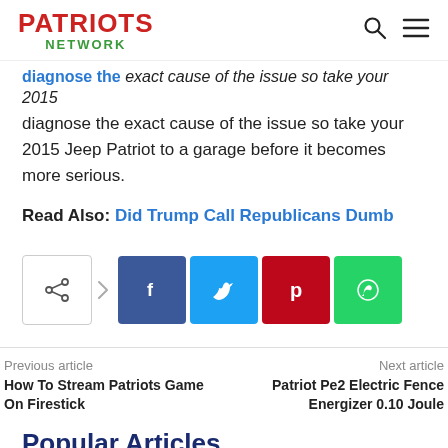PATRIOTS NETWORK
diagnose the exact cause of the issue so take your 2015 Jeep Patriot to a garage before it becomes more serious.
Read Also: Did Trump Call Republicans Dumb
[Figure (infographic): Social share buttons row: share icon with arrow, Facebook, Twitter, Pinterest, WhatsApp]
Previous article
How To Stream Patriots Game On Firestick
Next article
Patriot Pe2 Electric Fence Energizer 0.10 Joule
Popular Articles